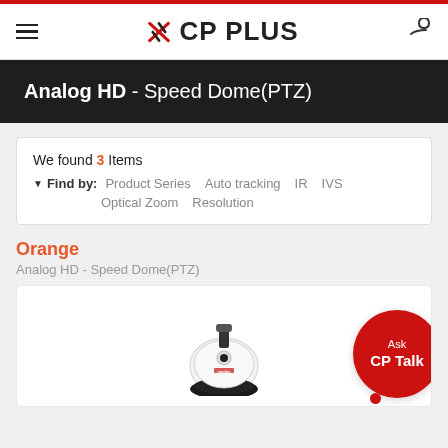CP PLUS
Analog HD - Speed Dome(PTZ)
We found 3 Items
Find by: Product Series   Auto tracking   IR   IVS   Optical Zoom   Resolution
Orange
Analog HD - Speed Dome(PTZ)
[Figure (photo): CP Plus white PTZ speed dome camera with black base on a white background]